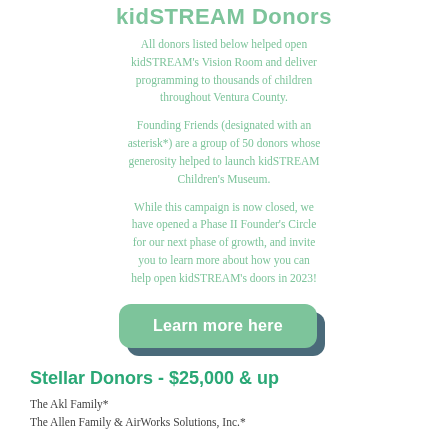kidSTREAM Donors
All donors listed below helped open kidSTREAM’s Vision Room and deliver programming to thousands of children throughout Ventura County.
Founding Friends (designated with an asterisk*) are a group of 50 donors whose generosity helped to launch kidSTREAM Children’s Museum.
While this campaign is now closed, we have opened a Phase II Founder’s Circle for our next phase of growth, and invite you to learn more about how you can help open kidSTREAM’s doors in 2023!
[Figure (other): Green button labeled 'Learn more here' with dark teal shadow]
Stellar Donors - $25,000 & up
The Akl Family*
The Allen Family & AirWorks Solutions, Inc.*